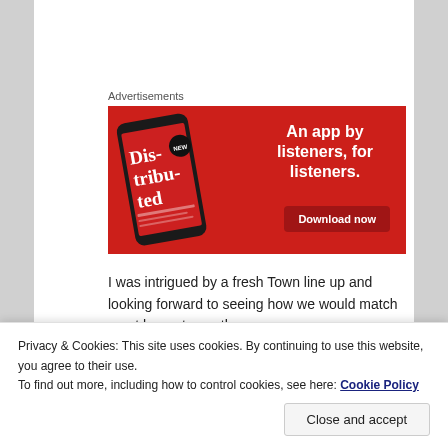Advertisements
[Figure (illustration): Red advertisement banner for a podcast app. Shows a smartphone displaying 'Distributed' podcast artwork on the left. On the right, white bold text reads 'An app by listeners, for listeners.' with a dark red 'Download now' button below.]
I was intrigued by a fresh Town line up and looking forward to seeing how we would match up at home to another
Privacy & Cookies: This site uses cookies. By continuing to use this website, you agree to their use.
To find out more, including how to control cookies, see here: Cookie Policy
Close and accept